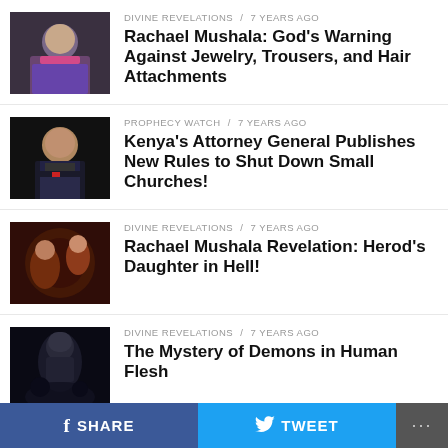[Figure (photo): Thumbnail of Rachael Mushala article - woman in polka dot outfit]
DIVINE REVELATIONS / 7 years ago
Rachael Mushala: God's Warning Against Jewelry, Trousers, and Hair Attachments
[Figure (photo): Thumbnail of Kenya Attorney General article - man in suit with red tie]
PROPHECY WATCH / 7 years ago
Kenya's Attorney General Publishes New Rules to Shut Down Small Churches!
[Figure (photo): Thumbnail of Rachael Mushala Revelation article - dark dramatic scene]
DIVINE REVELATIONS / 7 years ago
Rachael Mushala Revelation: Herod's Daughter in Hell!
[Figure (photo): Thumbnail of Mystery of Demons article - dark hooded figure]
DIVINE REVELATIONS / 7 years ago
The Mystery of Demons in Human Flesh